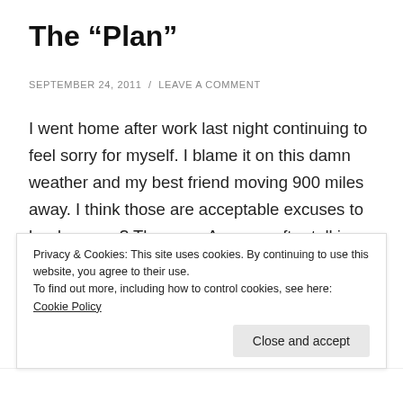The “Plan”
SEPTEMBER 24, 2011 / LEAVE A COMMENT
I went home after work last night continuing to feel sorry for myself. I blame it on this damn weather and my best friend moving 900 miles away. I think those are acceptable excuses to be down, no? They are. Anyway, after talking with Bill for a while (and being pathetically weepy for what feels like the 20th time this week), I blurted out an explanation for why I’ve been so down lately.
Privacy & Cookies: This site uses cookies. By continuing to use this website, you agree to their use.
To find out more, including how to control cookies, see here: Cookie Policy
Close and accept